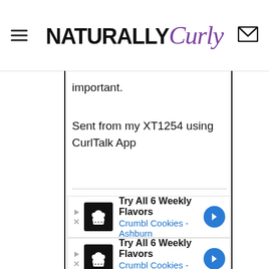NATURALLY Curly
important.
Sent from my XT1254 using CurlTalk App
[Figure (screenshot): Ad unit: Try All 6 Weekly Flavors - Crumbl Cookies - Ashburn]
[Figure (screenshot): Ad unit: Try All 6 Weekly Flavors - Crumbl Cookies - Ashburn]
[Figure (screenshot): Ad unit: Try All 6 Weekly Flavors - Crumbl Cookies - Ashburn]
[Figure (screenshot): Ad unit: Try All 6 Weekly Flavors (partial)]